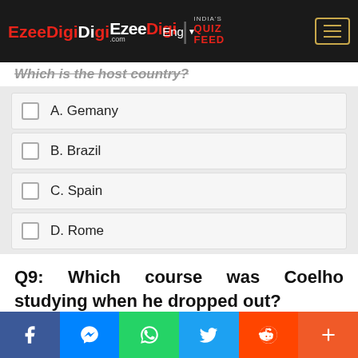EzeeDigi.com | INDIA'S QUIZ FEED — Eng
Which is the host country?
A. Gemany
B. Brazil
C. Spain
D. Rome
Q9: Which course was Coelho studying when he dropped out?
Social share bar: Facebook, Messenger, WhatsApp, Twitter, Reddit, More